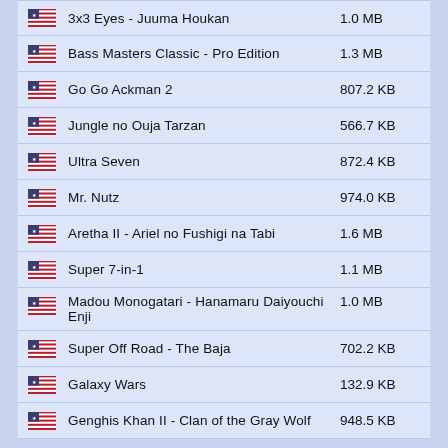3x3 Eyes - Juuma Houkan | 1.0 MB
Bass Masters Classic - Pro Edition | 1.3 MB
Go Go Ackman 2 | 807.2 KB
Jungle no Ouja Tarzan | 566.7 KB
Ultra Seven | 872.4 KB
Mr. Nutz | 974.0 KB
Aretha II - Ariel no Fushigi na Tabi | 1.6 MB
Super 7-in-1 | 1.1 MB
Madou Monogatari - Hanamaru Daiyouchi Enji | 1.0 MB
Super Off Road - The Baja | 702.2 KB
Galaxy Wars | 132.9 KB
Genghis Khan II - Clan of the Gray Wolf | 948.5 KB